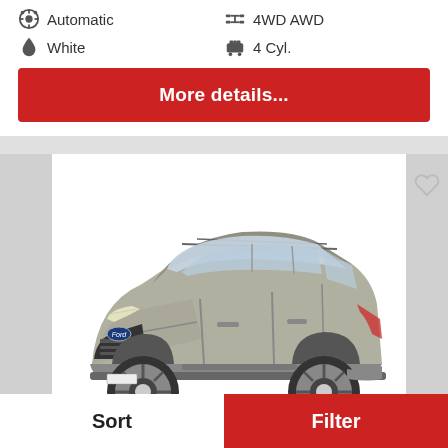Automatic
4WD AWD
White
4 Cyl.
More details...
[Figure (photo): Silver Ford Explorer SUV shown from front three-quarter angle on white background]
Sort
Filter